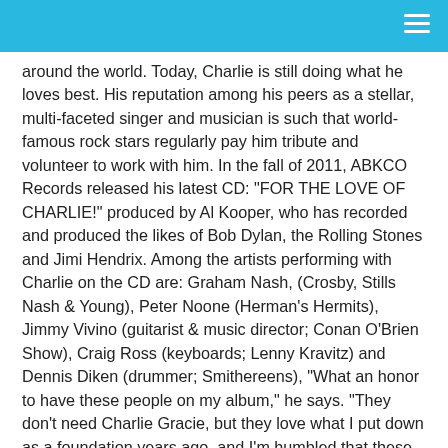around the world. Today, Charlie is still doing what he loves best. His reputation among his peers as a stellar, multi-faceted singer and musician is such that world-famous rock stars regularly pay him tribute and volunteer to work with him. In the fall of 2011, ABKCO Records released his latest CD: "FOR THE LOVE OF CHARLIE!" produced by Al Kooper, who has recorded and produced the likes of Bob Dylan, the Rolling Stones and Jimi Hendrix. Among the artists performing with Charlie on the CD are: Graham Nash, (Crosby, Stills Nash & Young), Peter Noone (Herman's Hermits), Jimmy Vivino (guitarist & music director; Conan O'Brien Show), Craig Ross (keyboards; Lenny Kravitz) and Dennis Diken (drummer; Smithereens), "What an honor to have these people on my album," he says. "They don't need Charlie Gracie, but they love what I put down as a foundation years ago, and I'm humbled that these artists would want to perform with me."
It is obvious why Charlie Gracie has lasted the course